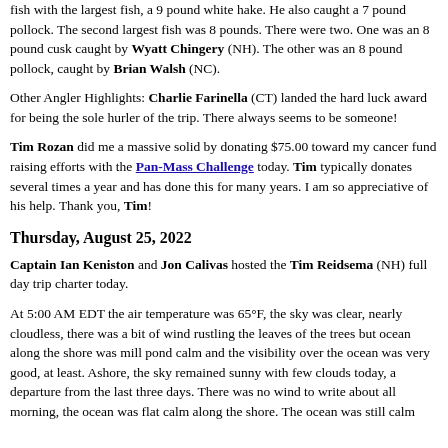fish with the largest fish, a 9 pound white hake. He also caught a 7 pound pollock. The second largest fish was 8 pounds. There were two. One was an 8 pound cusk caught by Wyatt Chingery (NH). The other was an 8 pound pollock, caught by Brian Walsh (NC).
Other Angler Highlights: Charlie Farinella (CT) landed the hard luck award for being the sole hurler of the trip. There always seems to be someone!
Tim Rozan did me a massive solid by donating $75.00 toward my cancer fund raising efforts with the Pan-Mass Challenge today. Tim typically donates several times a year and has done this for many years. I am so appreciative of his help. Thank you, Tim!
Thursday, August 25, 2022
Captain Ian Keniston and Jon Calivas hosted the Tim Reidsema (NH) full day trip charter today.
At 5:00 AM EDT the air temperature was 65°F, the sky was clear, nearly cloudless, there was a bit of wind rustling the leaves of the trees but ocean along the shore was mill pond calm and the visibility over the ocean was very good, at least. Ashore, the sky remained sunny with few clouds today, a departure from the last three days. There was no wind to write about all morning, the ocean was flat calm along the shore. The ocean was still calm